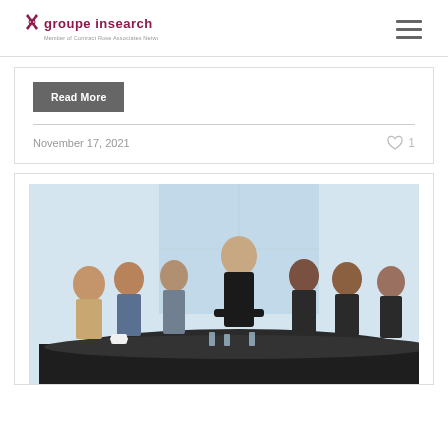[Figure (logo): Groupe Insearch logo with scissors icon and text 'groupe insearch', subtitle 'Member of Contract Rose Associates Network']
Read More
November 17, 2021
1
[Figure (photo): Business meeting scene: a woman in black dress standing at the head of a conference table, presenting to a group of diverse business professionals seated around the table, with large floor-to-ceiling windows in the background.]